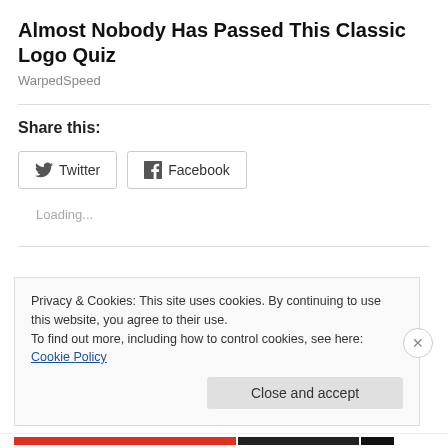Almost Nobody Has Passed This Classic Logo Quiz
WarpedSpeed
Share this:
Twitter  Facebook
Loading...
Privacy & Cookies: This site uses cookies. By continuing to use this website, you agree to their use.
To find out more, including how to control cookies, see here: Cookie Policy
Close and accept